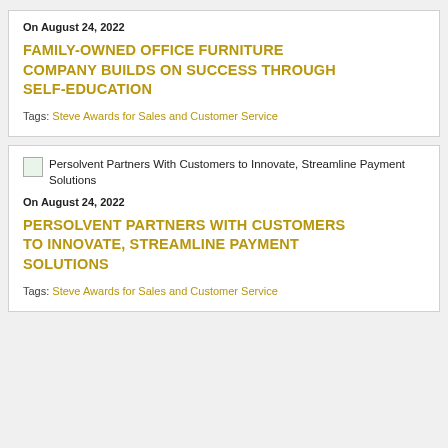On August 24, 2022
FAMILY-OWNED OFFICE FURNITURE COMPANY BUILDS ON SUCCESS THROUGH SELF-EDUCATION
Tags: Steve Awards for Sales and Customer Service
[Figure (photo): Thumbnail image for Persolvent Partners With Customers to Innovate, Streamline Payment Solutions]
On August 24, 2022
PERSOLVENT PARTNERS WITH CUSTOMERS TO INNOVATE, STREAMLINE PAYMENT SOLUTIONS
Tags: Steve Awards for Sales and Customer Service